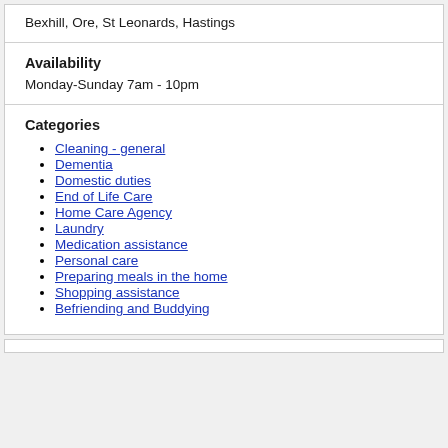Bexhill, Ore, St Leonards, Hastings
Availability
Monday-Sunday 7am - 10pm
Categories
Cleaning - general
Dementia
Domestic duties
End of Life Care
Home Care Agency
Laundry
Medication assistance
Personal care
Preparing meals in the home
Shopping assistance
Befriending and Buddying